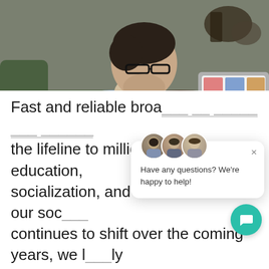[Figure (photo): Overhead view of a man wearing glasses and a light blue sweater, sitting on a green couch and using a laptop, with a tablet also visible on a wooden table nearby.]
[Figure (screenshot): A chat widget popup overlay showing three avatar photos, a close (X) button, and the message 'Have any questions? We're happy to help!' with a teal chat icon button.]
Fast and reliable broadband at home has become the lifeline to millions for work, education, socialization, and entertainment. As our society continues to shift over the coming years, we likely...